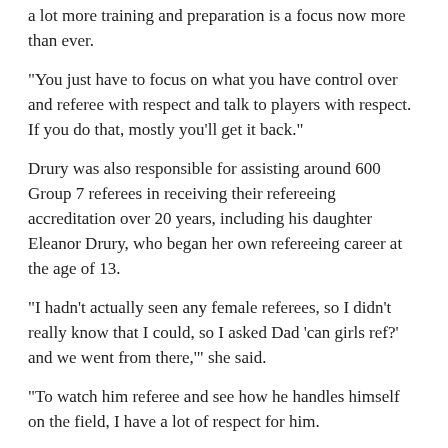a lot more training and preparation is a focus now more than ever.
“You just have to focus on what you have control over and referee with respect and talk to players with respect. If you do that, mostly you’ll get it back.”
Drury was also responsible for assisting around 600 Group 7 referees in receiving their refereeing accreditation over 20 years, including his daughter Eleanor Drury, who began her own refereeing career at the age of 13.
“I hadn’t actually seen any female referees, so I didn’t really know that I could, so I asked Dad ‘can girls ref?’ and we went from there,’” she said.
“To watch him referee and see how he handles himself on the field, I have a lot of respect for him.
“From day one he’s always been super supportive and helped us there when something...